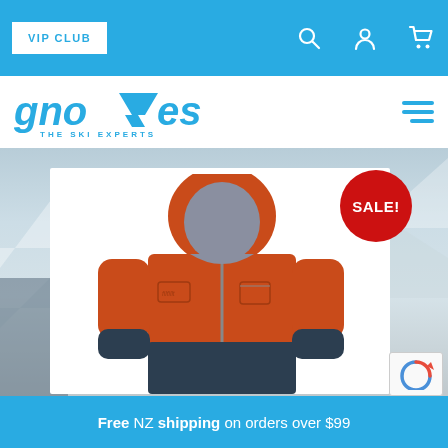VIP CLUB | [search icon] [account icon] [cart icon]
[Figure (logo): Gnomes The Ski Experts logo in blue with stylized mountain/gnome hat letterform]
[Figure (photo): Orange and dark navy ski jacket with hood, shown headless on white background, with red SALE! badge overlay. Snowy mountain background behind product card.]
Free NZ shipping on orders over $99